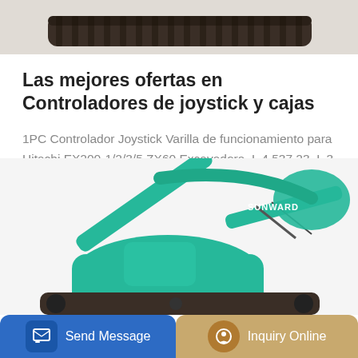[Figure (photo): Partial view of excavator tracks/undercarriage at top of page]
Las mejores ofertas en Controladores de joystick y cajas
1PC Controlador Joystick Varilla de funcionamiento para Hitachi EX200-1/2/3/5 ZX60 Excavadora. L 4 537.23. L 3 137.20 por el envío.
[Figure (photo): Teal/green Sunward excavator machine, side view showing arm and boom]
Send Message | Inquiry Online